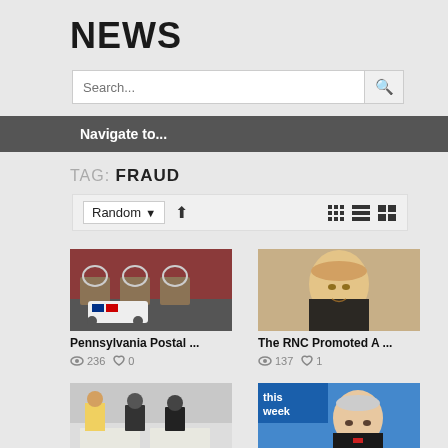NEWS
Search...
Navigate to...
TAG: FRAUD
Random ▾ ↑
[Figure (photo): USPS mail truck parked in front of brick post office building]
Pennsylvania Postal ...
👁 236  ♥ 0
[Figure (photo): Donald Trump in dark suit looking serious]
The RNC Promoted A ...
👁 137  ♥ 1
[Figure (photo): People seated at tables in large hall, appears to be vote counting]
[Figure (photo): Man in suit on This Week TV program, appears to be John Bolton]